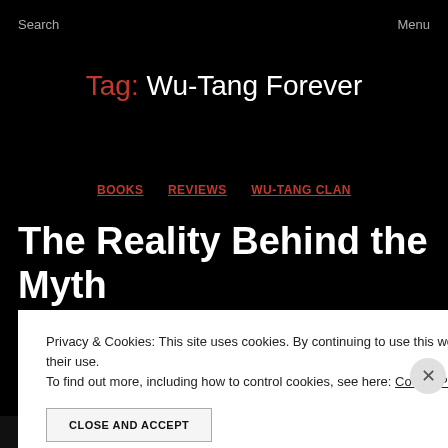Search   Menu
Tag: Wu-Tang Forever
BOOKS   REVIEWS   WU-TANG CLAN
The Reality Behind the Myth – "From Staircase to Stage"
Privacy & Cookies: This site uses cookies. By continuing to use this website, you agree to their use.
To find out more, including how to control cookies, see here: Cookie Policy
CLOSE AND ACCEPT